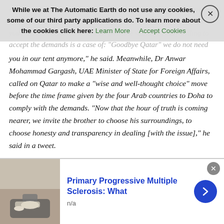While we at The Automatic Earth do not use any cookies, some of our third party applications do. To learn more about the cookies click here: Learn More  Accept Cookies
you in our tent anymore," he said. Meanwhile, Dr Anwar Mohammad Gargash, UAE Minister of State for Foreign Affairs, called on Qatar to make a "wise and well-thought choice" move before the time frame given by the four Arab countries to Doha to comply with the demands. "Now that the hour of truth is coming nearer, we invite the brother to choose his surroundings, to choose honesty and transparency in dealing [with the issue]," he said in a tweet.
"We have long suffered from the brother's conspiracy to undermine our stability and we have witnessed his support for a partisan agenda seeking to create chaos in our Arab world. Now, we tell him: Enough! Get back to your senses or go on your way, but without us," he posted on his Twitter account yesterday. He was referring to Qatar as brother. In Washington, Saudi Foreign Minister
Primary Progressive Multiple Sclerosis: What
n/a